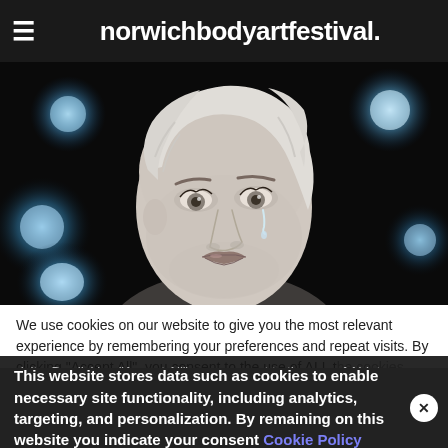norwichbodyartfestival.
[Figure (illustration): A grayscale digital illustration of a woman's face with short blonde hair against a dark background with glowing blue orbs/galaxies. The portrait shows detailed facial features — eyes, lips — and a single tear. The style is realistic pencil/charcoal digital art.]
We use cookies on our website to give you the most relevant experience by remembering your preferences and repeat visits. By clicking "Accept All", you consent to the use of ALL the cookies. However, you may visit "Cookie Settings" to provide a controlled consent.
This website stores data such as cookies to enable necessary site functionality, including analytics, targeting, and personalization. By remaining on this website you indicate your consent Cookie Policy